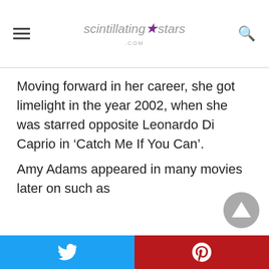scintillating★stars.com
Moving forward in her career, she got limelight in the year 2002, when she was starred opposite Leonardo Di Caprio in ‘Catch Me If You Can’.
Amy Adams appeared in many movies later on such as
Twitter share | Pinterest share